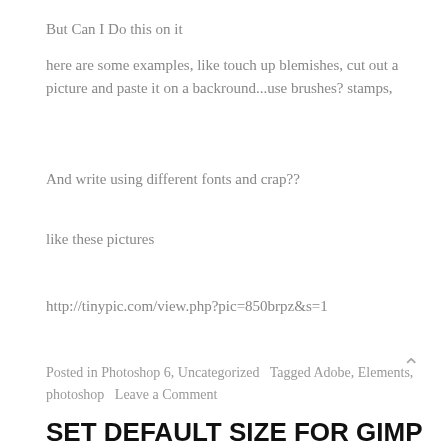But Can I Do this on it
here are some examples, like touch up blemishes, cut out a picture and paste it on a backround...use brushes? stamps,
And write using different fonts and crap??
like these pictures
http://tinypic.com/view.php?pic=850brpz&s=1
Posted in Photoshop 6, Uncategorized   Tagged Adobe, Elements, photoshop   Leave a Comment
SET DEFAULT SIZE FOR GIMP